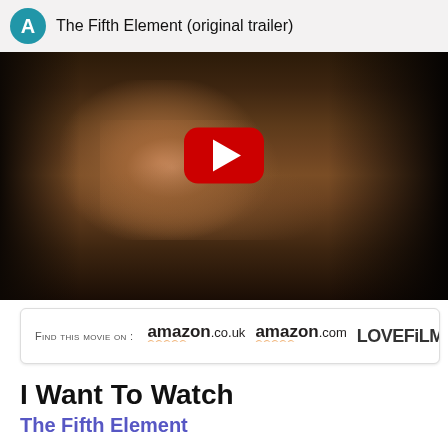[Figure (screenshot): YouTube video thumbnail showing The Fifth Element original trailer. A close-up dark-toned face of a man is visible with a red YouTube play button in the center. The video header shows an avatar circle with letter 'A' and title 'The Fifth Element (original trailer)'.]
FIND THIS MOVIE ON : amazon.co.uk amazon.com LOVEFiLM
I Want To Watch
The Fifth Element